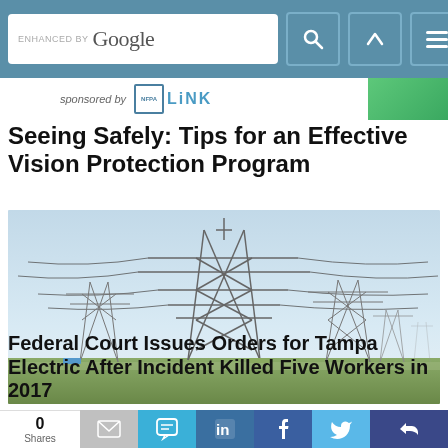ENHANCED BY Google [search bar with icons]
sponsored by NFPA LINK
Seeing Safely: Tips for an Effective Vision Protection Program
[Figure (photo): Photograph of high-voltage electrical transmission towers/pylons under a hazy sky with power lines stretching across a flat landscape]
Federal Court Issues Orders for Tampa Electric After Incident Killed Five Workers in 2017
0 Shares [social share buttons: email, SMS, LinkedIn, Facebook, Twitter, other]